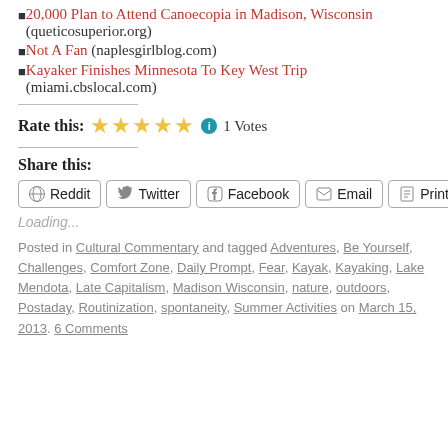20,000 Plan to Attend Canoecopia in Madison, Wisconsin (queticosuperior.org)
Not A Fan (naplesgirlblog.com)
Kayaker Finishes Minnesota To Key West Trip (miami.cbslocal.com)
Rate this: ★★★★★ ℹ 1 Votes
Share this:
Reddit  Twitter  Facebook  Email  Print
Loading...
Posted in Cultural Commentary and tagged Adventures, Be Yourself, Challenges, Comfort Zone, Daily Prompt, Fear, Kayak, Kayaking, Lake Mendota, Late Capitalism, Madison Wisconsin, nature, outdoors, Postaday, Routinization, spontaneity, Summer Activities on March 15, 2013. 6 Comments